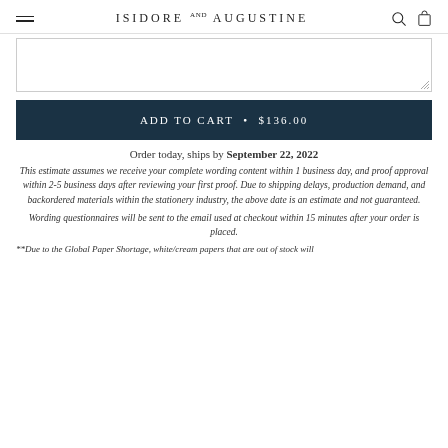ISIDORE AND AUGUSTINE
ADD TO CART • $136.00
Order today, ships by September 22, 2022
This estimate assumes we receive your complete wording content within 1 business day, and proof approval within 2-5 business days after reviewing your first proof. Due to shipping delays, production demand, and backordered materials within the stationery industry, the above date is an estimate and not guaranteed.
Wording questionnaires will be sent to the email used at checkout within 15 minutes after your order is placed.
**Due to the Global Paper Shortage, white/cream papers that are out of stock will